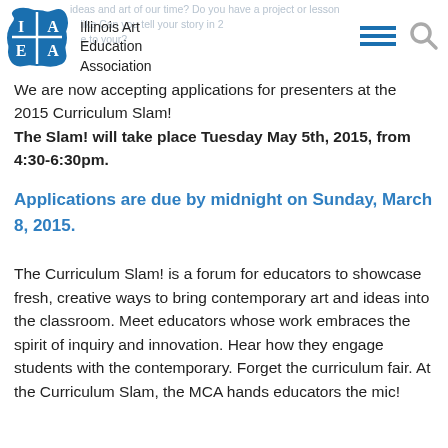Illinois Art Education Association
We are now accepting applications for presenters at the 2015 Curriculum Slam! The Slam! will take place Tuesday May 5th, 2015, from 4:30-6:30pm.
Applications are due by midnight on Sunday, March 8, 2015.
The Curriculum Slam! is a forum for educators to showcase fresh, creative ways to bring contemporary art and ideas into the classroom. Meet educators whose work embraces the spirit of inquiry and innovation. Hear how they engage students with the contemporary. Forget the curriculum fair. At the Curriculum Slam, the MCA hands educators the mic!